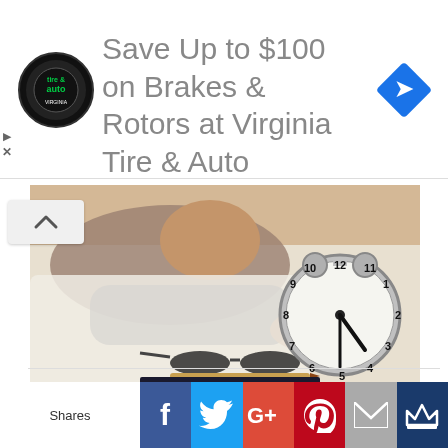[Figure (photo): Advertisement banner: Virginia Tire & Auto logo (circular black badge with green tire & auto text), text 'Save Up to $100 on Brakes & Rotors at Virginia Tire & Auto', blue diamond navigation icon on right, play and X controls on left]
[Figure (photo): Man sleeping in bed, alarm clock showing approximately 6:30 time, eyeglasses and pen on notebook on bedside surface, blurred bedroom background]
10 Powerful Evening Habits For a Better Sleep
Shares
[Figure (infographic): Social share buttons row: Facebook (blue), Twitter (light blue), Google+ (red-orange), Pinterest (dark red), Email (gray), Crown/bookmark (dark blue)]